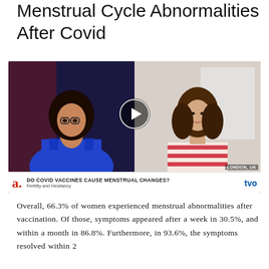Menstrual Cycle Abnormalities After Covid
[Figure (screenshot): TV news video screenshot showing two women in a split-screen interview, with a lower-third graphic reading 'DO COVID VACCINES CAUSE MENSTRUAL CHANGES? Fertility and Hesitancy' with logos 'a.' (red) and 'tvo' (blue). Right panel shows a woman with 'LONDON, UK' label. A play button is overlaid in the center.]
Overall, 66.3% of women experienced menstrual abnormalities after vaccination. Of those, symptoms appeared after a week in 30.5%, and within a month in 86.8%. Furthermore, in 93.6%, the symptoms resolved within 2